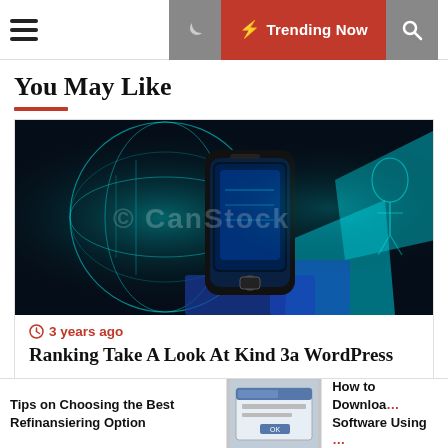≡  ☾  ⚡ Trending Now  🔍
You May Like
[Figure (photo): Dark tech image featuring a smartphone/mobile device with glowing cyan digital network globe effects against a black background, with CanStock watermark overlay]
⏰ 3 years ago
Ranking Take A Look At Kind 3a WordPress
[Figure (photo): Bottom partial image strip, gray background]
Tips on Choosing the Best Refinansiering Option
[Figure (screenshot): Small screenshot of a software dialog/window]
How to Download Software Using